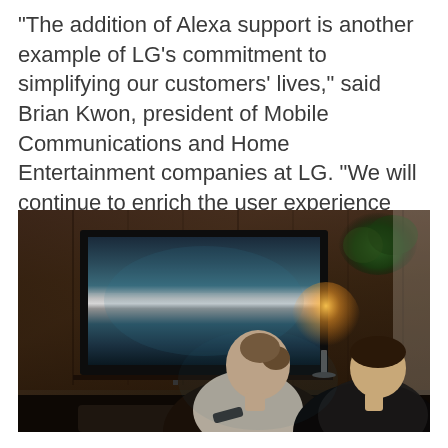"The addition of Alexa support is another example of LG's commitment to simplifying our customers' lives," said Brian Kwon, president of Mobile Communications and Home Entertainment companies at LG. "We will continue to enrich the user experience going forward with a diverse range of convenient AI services and features."
[Figure (photo): A couple sitting on a sofa watching an LG OLED TV mounted on a wood-paneled wall in a dimly lit living room, with a lamp glowing on a shelf beside the TV.]